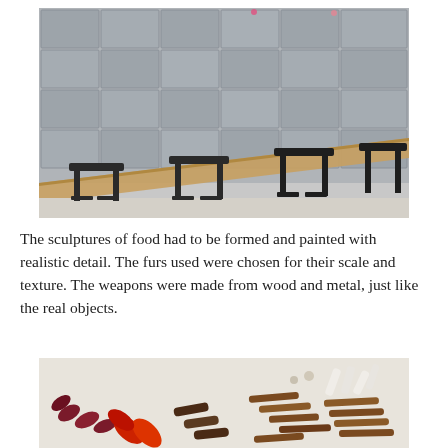[Figure (photo): A wall covered with grey rectangular fabric or paper tiles arranged in rows, with a wooden beam running diagonally in front of it, and several black stools or stands underneath.]
The sculptures of food had to be formed and painted with realistic detail. The furs used were chosen for their scale and texture. The weapons were made from wood and metal, just like the real objects.
[Figure (photo): A flat surface displaying various small sculpted objects resembling food items and weapons — red peppers, dark sausages, brown sticks or logs, and white elongated shapes — arranged in loose rows.]